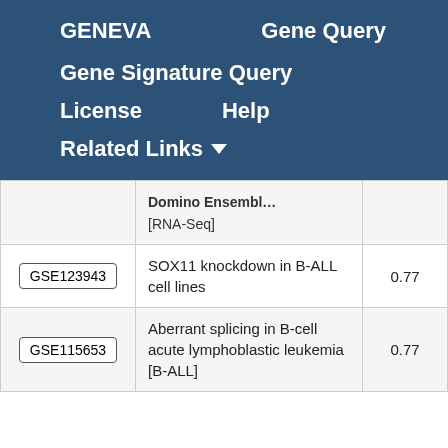GENEVA    Gene Query
Gene Signature Query
License    Help
Related Links ▾
| Accession | Description | Score |
| --- | --- | --- |
|  | Domino Ensembl [RNA-Seq] |  |
| GSE123943 | SOX11 knockdown in B-ALL cell lines | 0.77 |
| GSE115653 | Aberrant splicing in B-cell acute lymphoblastic leukemia [B-ALL] | 0.77 |